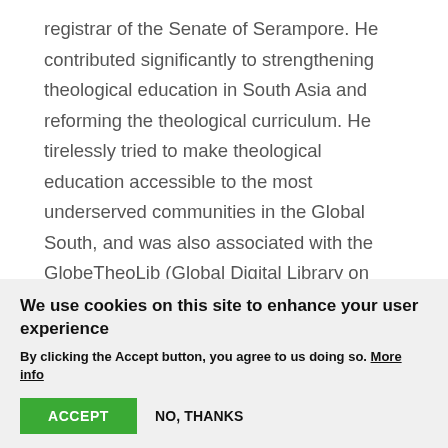registrar of the Senate of Serampore. He contributed significantly to strengthening theological education in South Asia and reforming the theological curriculum. He tirelessly tried to make theological education accessible to the most underserved communities in the Global South, and was also associated with the GlobeTheoLib (Global Digital Library on Theology and Ecumenism) Consortium, a project of Globethics.net and the World Council of Churches.
Dr Soritua Albert Ernest Nababan, a former
We use cookies on this site to enhance your user experience
By clicking the Accept button, you agree to us doing so. More info
ACCEPT   NO, THANKS